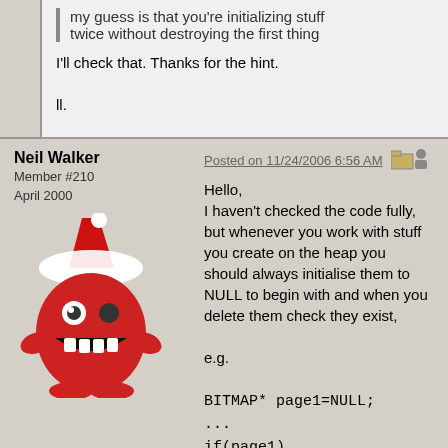my guess is that you're initializing stuff twice without destroying the first thing
I'll check that. Thanks for the hint.

ll.
Neil Walker
Member #210
April 2000
[Figure (illustration): Avatar of Neil Walker: a red cartoon monster character wearing a Santa hat, with a wide grin showing teeth]
Posted on 11/24/2006 6:56 AM
Hello,
I haven't checked the code fully, but whenever you work with stuff you create on the heap you should always initialise them to NULL to begin with and when you delete them check they exist,

e.g.

BITMAP* page1=NULL;
...
if(page1) destroy_bitmap(page1);

Also,
I noticed you are destroying bitmaps and making allegro calls in your destructors. Are you sure than these are being called before you exit allegro?